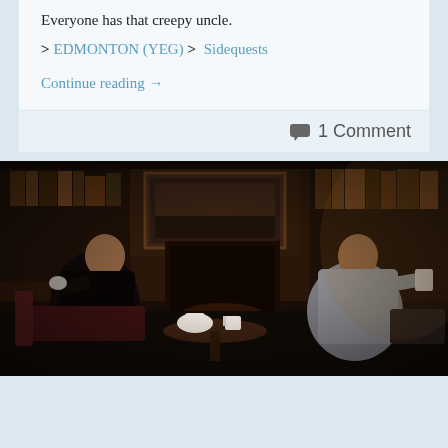Everyone has that creepy uncle.
> EDMONTON (YEG) > Sidequests
Continue reading →
1 Comment
[Figure (photo): Two men sitting across from each other in a dark wood-panelled library or study with a fireplace in the background, each holding a cup. The scene resembles a period drama setting.]